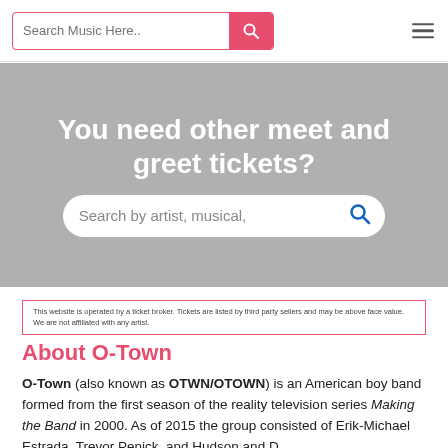[Figure (screenshot): Search bar with placeholder 'Search Music Here..' and pink search button, plus hamburger menu icon on the right]
[Figure (screenshot): Gray banner with heading 'You need other meet and greet tickets?' and a white rounded search field with 'Search by artist, musical,' placeholder and blue search icon]
This website is operated by a ticket broker. Tickets are listed by third party sellers and may be above face value. We are not affiliated with any artist.
About O-Town
O-Town (also known as OTWN/OTOWN) is an American boy band formed from the first season of the reality television series Making the Band in 2000. As of 2015 the group consisted of Erik-Michael Estrada, Trevor Penick, and Hudson and D...